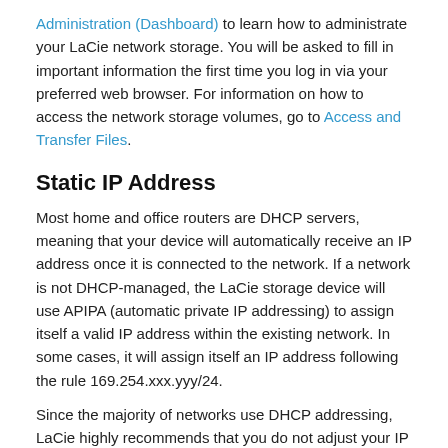Administration (Dashboard) to learn how to administrate your LaCie network storage. You will be asked to fill in important information the first time you log in via your preferred web browser. For information on how to access the network storage volumes, go to Access and Transfer Files.
Static IP Address
Most home and office routers are DHCP servers, meaning that your device will automatically receive an IP address once it is connected to the network. If a network is not DHCP-managed, the LaCie storage device will use APIPA (automatic private IP addressing) to assign itself a valid IP address within the existing network. In some cases, it will assign itself an IP address following the rule 169.254.xxx.yyy/24.
Since the majority of networks use DHCP addressing, LaCie highly recommends that you do not adjust your IP address without contacting your Internet provider or network administrator.